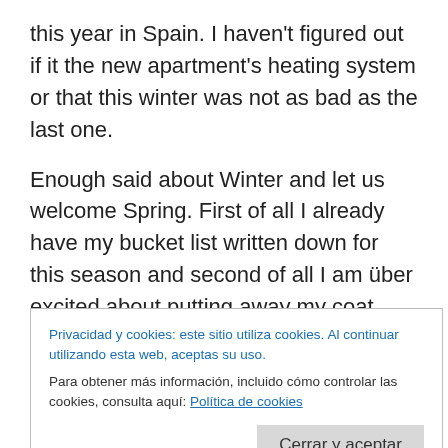this year in Spain. I haven't figured out if it the new apartment's heating system or that this winter was not as bad as the last one.
Enough said about Winter and let us welcome Spring. First of all I already have my bucket list written down for this season and second of all I am über excited about putting away my coat. There is something magical about taking out clothes I love that I haven't worn in a while. You have to see me «unpacking» the spring/summer clothing it feels like Christmas all over again… I am like «oh this is
Privacidad y cookies: este sitio utiliza cookies. Al continuar utilizando esta web, aceptas su uso.
Para obtener más información, incluido cómo controlar las cookies, consulta aquí: Política de cookies
Cerrar y aceptar
2. Spring cleaning 3up I do look forward to this…